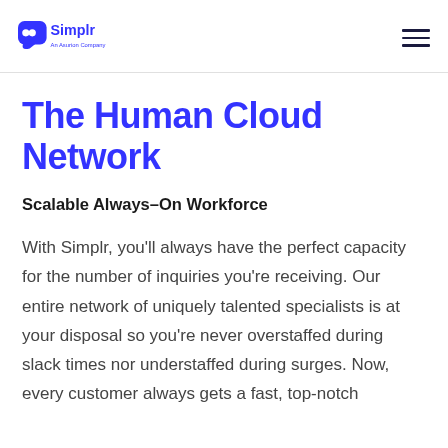Simplr — An Asurion Company
The Human Cloud Network
Scalable Always-On Workforce
With Simplr, you'll always have the perfect capacity for the number of inquiries you're receiving. Our entire network of uniquely talented specialists is at your disposal so you're never overstaffed during slack times nor understaffed during surges. Now, every customer always gets a fast, top-notch